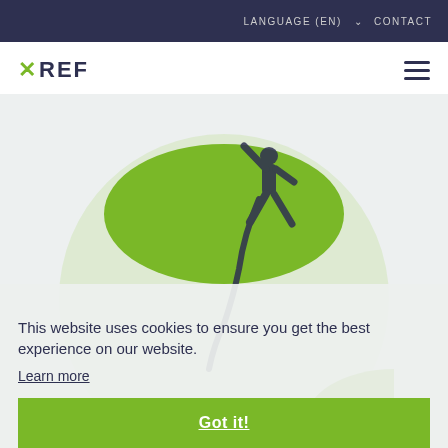LANGUAGE (EN) ∨   CONTACT
XREF
[Figure (illustration): Large circle with green arc on top and a silhouette of a person leaping/jumping, with a light green/gray globe circle behind]
This website uses cookies to ensure you get the best experience on our website.
Learn more
Got it!